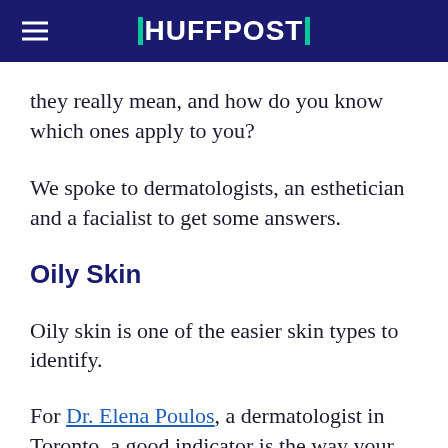HUFFPOST
they really mean, and how do you know which ones apply to you?
We spoke to dermatologists, an esthetician and a facialist to get some answers.
Oily Skin
Oily skin is one of the easier skin types to identify.
For Dr. Elena Poulos, a dermatologist in Toronto, a good indicator is the way your face feels soon after